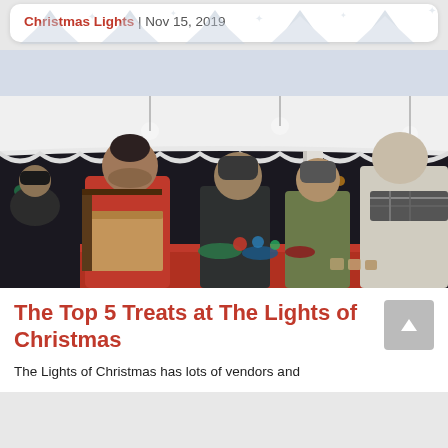Christmas Lights | Nov 15, 2019
[Figure (photo): People gathered around a vendor table under a tent at The Lights of Christmas event, with colorful Christmas lights in the background. A man in a red Nike jacket is prominent in the center.]
The Top 5 Treats at The Lights of Christmas
The Lights of Christmas has lots of vendors and